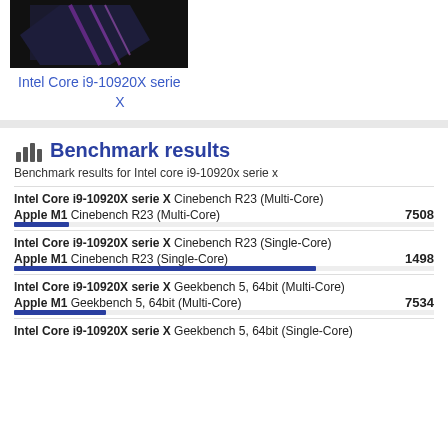[Figure (photo): Intel Core i9-10920X series X product box image, black background with purple/pink graphic]
Intel Core i9-10920X serie X
Benchmark results
Benchmark results for Intel core i9-10920x serie x
Intel Core i9-10920X serie X Cinebench R23 (Multi-Core)
Apple M1 Cinebench R23 (Multi-Core) 7508
Intel Core i9-10920X serie X Cinebench R23 (Single-Core)
Apple M1 Cinebench R23 (Single-Core) 1498
Intel Core i9-10920X serie X Geekbench 5, 64bit (Multi-Core)
Apple M1 Geekbench 5, 64bit (Multi-Core) 7534
Intel Core i9-10920X serie X Geekbench 5, 64bit (Single-Core)